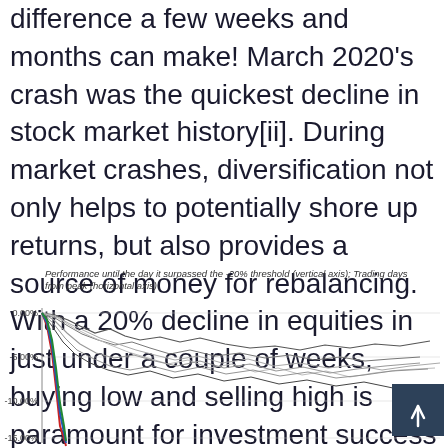difference a few weeks and months can make! March 2020's crash was the quickest decline in stock market history[ii]. During market crashes, diversification not only helps to potentially shore up returns, but also provides a source of money for rebalancing. With a 20% decline in equities in just under a couple of weeks, buying low and selling high is paramount for investment success over the long term.
Performance until the day it surpassed the -20% threshold (vertical axis); Trading days from peak (horizontal axis)
[Figure (continuous-plot): Multi-line chart showing performance (vertical axis, 0.00% to -15.00%) of various stock market crashes from their peak until they surpassed the -20% threshold. Includes multiple overlapping lines in black/grey, with prominent red, blue, and green lines showing the 2020 crash declining steeply in a short number of trading days.]